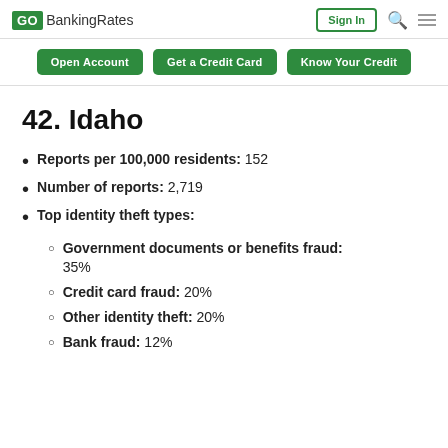GOBankingRates | Sign In
Open Account | Get a Credit Card | Know Your Credit
42. Idaho
Reports per 100,000 residents: 152
Number of reports: 2,719
Top identity theft types:
Government documents or benefits fraud: 35%
Credit card fraud: 20%
Other identity theft: 20%
Bank fraud: 12%